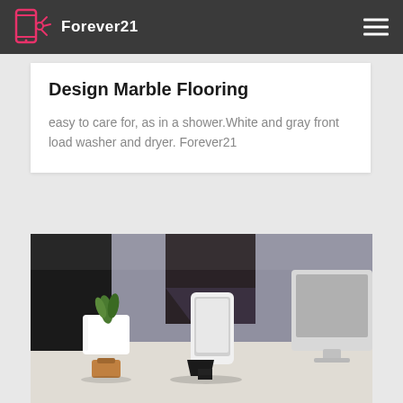Forever21
Design Marble Flooring
easy to care for, as in a shower.White and gray front load washer and dryer. Forever21
[Figure (photo): Office desk scene showing a smartphone in a stand, a white monitor or iMac in the background, a small white planter with green plant, and dark chair/monitor frames in a bright workspace setting.]